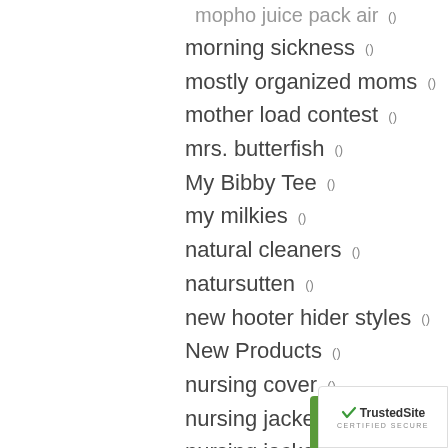mopho juice pack air ()
morning sickness ()
mostly organized moms ()
mother load contest ()
mrs. butterfish ()
My Bibby Tee ()
my milkies ()
natural cleaners ()
natursutten ()
new hooter hider styles ()
New Products ()
nursing cover ()
nursing jacket ()
nursing jacket sale ()